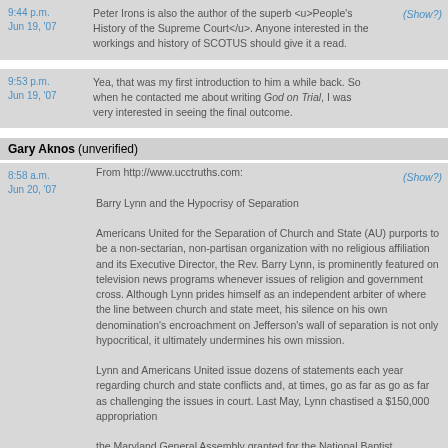Peter Irons is also the author of the superb <u>People's History of the Supreme Court</u>. Anyone interested in the workings and history of SCOTUS should give it a read.
Yea, that was my first introduction to him a while back. So when he contacted me about writing God on Trial, I was very interested in seeing the final outcome.
Gary Aknos (unverified)
From http://www.ucctruths.com:
Barry Lynn and the Hypocrisy of Separation
Americans United for the Separation of Church and State (AU) purports to be a non-sectarian, non-partisan organization with no religious affiliation and its Executive Director, the Rev. Barry Lynn, is prominently featured on television news programs whenever issues of religion and government cross. Although Lynn prides himself as an independent arbiter of where the line between church and state meet, his silence on his own denomination's encroachment on Jefferson's wall of separation is not only hypocritical, it ultimately undermines his own mission.
Lynn and Americans United issue dozens of statements each year regarding church and state conflicts and, at times, go as far as go as far as challenging the issues in court. Last May, Lynn chastised a $150,000 appropriation
the Maryland General Assembly granted for the National Baptist Congress of Christian Education (NBCCE) conference held in